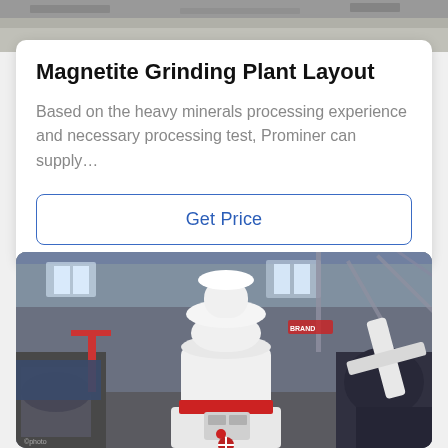[Figure (photo): Top portion of industrial facility or grinding plant, gray ceiling/structure visible]
Magnetite Grinding Plant Layout
Based on the heavy minerals processing experience and necessary processing test, Prominer can supply…
Get Price
[Figure (photo): Industrial grinding mill machine (white and red) inside a factory/warehouse setting with steel structures, equipment, and machinery visible in the background]